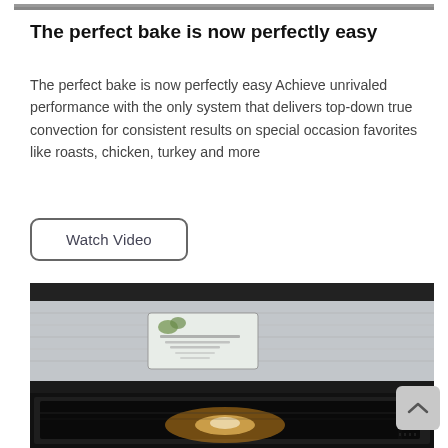[Figure (photo): Top portion of a stainless steel oven, partially cropped at top]
The perfect bake is now perfectly easy
The perfect bake is now perfectly easy Achieve unrivaled performance with the only system that delivers top-down true convection for consistent results on special occasion favorites like roasts, chicken, turkey and more
[Figure (other): Watch Video button with rounded rectangle border]
[Figure (photo): Stainless steel wall oven with a small display screen showing a food label, oven door with black glass visible, interior lit]